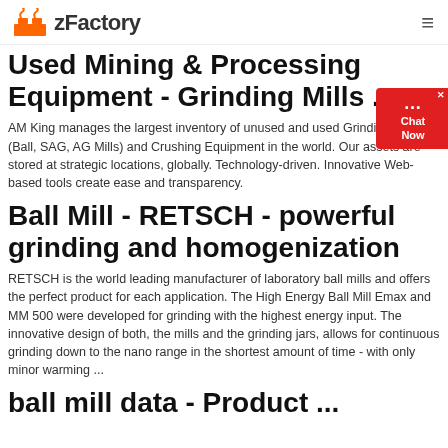zFactory
Used Mining & Processing Equipment - Grinding Mills ...
AM King manages the largest inventory of unused and used Grinding Mills (Ball, SAG, AG Mills) and Crushing Equipment in the world. Our assets are stored at strategic locations, globally. Technology-driven. Innovative Web-based tools create ease and transparency.
Ball Mill - RETSCH - powerful grinding and homogenization
RETSCH is the world leading manufacturer of laboratory ball mills and offers the perfect product for each application. The High Energy Ball Mill Emax and MM 500 were developed for grinding with the highest energy input. The innovative design of both, the mills and the grinding jars, allows for continuous grinding down to the nano range in the shortest amount of time - with only minor warming ...
ball mill data - Product ...